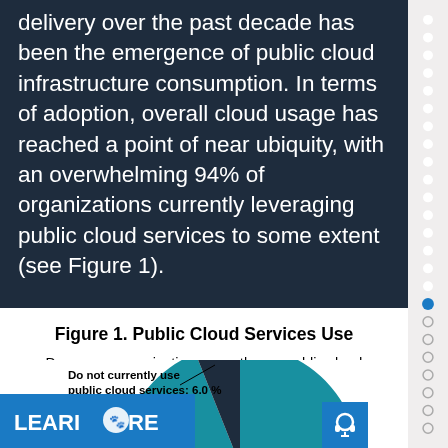delivery over the past decade has been the emergence of public cloud infrastructure consumption. In terms of adoption, overall cloud usage has reached a point of near ubiquity, with an overwhelming 94% of organizations currently leveraging public cloud services to some extent (see Figure 1).
Figure 1. Public Cloud Services Use
Does your organization currently use public cloud services (SaaS, IaaS)? (Percent of respondents, N=658)
[Figure (pie-chart): Pie chart partially visible showing 6% do not use and 94% use public cloud services]